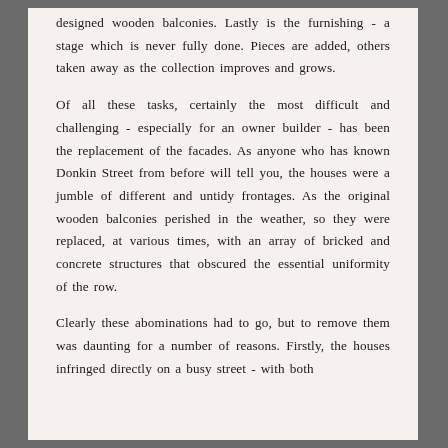… and replacing it with original designed wooden balconies. Lastly is the furnishing - a stage which is never fully done. Pieces are added, others taken away as the collection improves and grows.
Of all these tasks, certainly the most difficult and challenging - especially for an owner builder - has been the replacement of the facades. As anyone who has known Donkin Street from before will tell you, the houses were a jumble of different and untidy frontages. As the original wooden balconies perished in the weather, so they were replaced, at various times, with an array of bricked and concrete structures that obscured the essential uniformity of the row.
Clearly these abominations had to go, but to remove them was daunting for a number of reasons. Firstly, the houses infringed directly on a busy street - with both